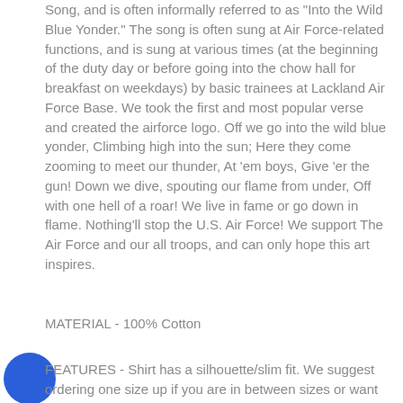Song, and is often informally referred to as "Into the Wild Blue Yonder." The song is often sung at Air Force-related functions, and is sung at various times (at the beginning of the duty day or before going into the chow hall for breakfast on weekdays) by basic trainees at Lackland Air Force Base. We took the first and most popular verse and created the airforce logo. Off we go into the wild blue yonder, Climbing high into the sun; Here they come zooming to meet our thunder, At 'em boys, Give 'er the gun! Down we dive, spouting our flame from under, Off with one hell of a roar! We live in fame or go down in flame. Nothing'll stop the U.S. Air Force! We support The Air Force and our all troops, and can only hope this art inspires.
MATERIAL - 100% Cotton
[Figure (other): Blue filled circle/button overlapping the FEATURES text block]
FEATURES - Shirt has a silhouette/slim fit. We suggest ordering one size up if you are in between sizes or want a more relaxed fit